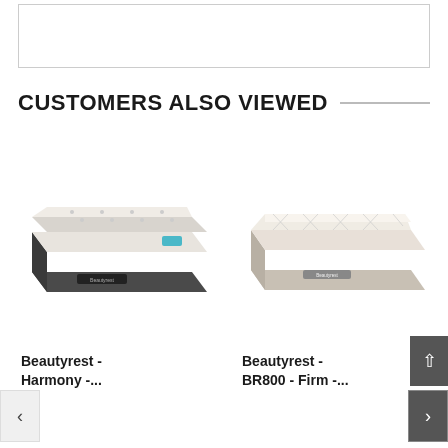[Figure (other): White rectangular box at top of page, likely a product image placeholder]
CUSTOMERS ALSO VIEWED
[Figure (photo): Beautyrest - Harmony mattress product image, dark charcoal sides with pillow-top, shown in 3/4 angle]
[Figure (photo): Beautyrest - BR800 - Firm mattress product image, beige/cream colored, shown in 3/4 angle]
Beautyrest - Harmony -...
Beautyrest - BR800 - Firm -...